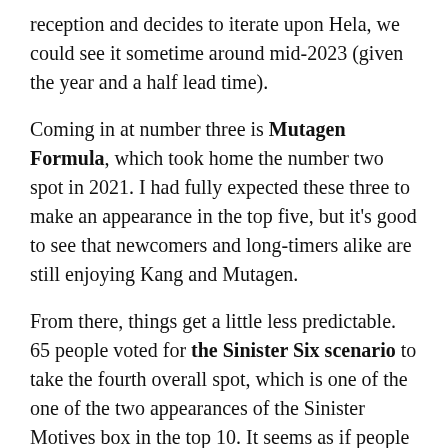reception and decides to iterate upon Hela, we could see it sometime around mid-2023 (given the year and a half lead time).
Coming in at number three is Mutagen Formula, which took home the number two spot in 2021. I had fully expected these three to make an appearance in the top five, but it's good to see that newcomers and long-timers alike are still enjoying Kang and Mutagen.
From there, things get a little less predictable. 65 people voted for the Sinister Six scenario to take the fourth overall spot, which is one of the one of the two appearances of the Sinister Motives box in the top 10. It seems as if people took to the unique approach of fighting a horde of villains and escaping via a side scheme. The other is the thematic and encounter card-heavy Mysterio, which comes in at number five...